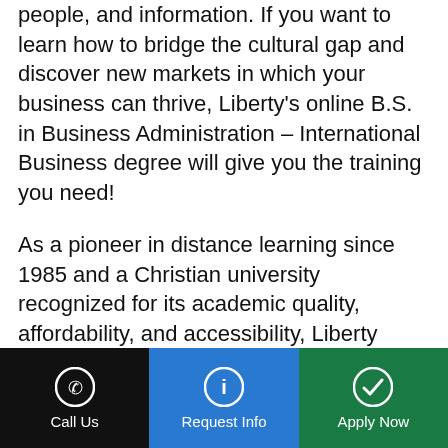people, and information. If you want to learn how to bridge the cultural gap and discover new markets in which your business can thrive, Liberty's online B.S. in Business Administration – International Business degree will give you the training you need!
As a pioneer in distance learning since 1985 and a Christian university recognized for its academic quality, affordability, and accessibility, Liberty fulfills its mission to Train Champions for Christ by providing business professionals with flexible and affordable online training rooted in a Christian worldview. Our online B.S. in Business Administration is accredited by the Accreditation
[Figure (other): Bottom navigation bar with three buttons: 'Call Us' (black background, phone icon), 'Request Info' (blue background, info icon), 'Apply Now' (green background, checkmark icon)]